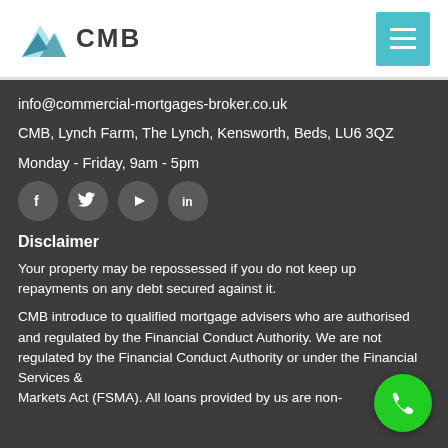CMB
info@commercial-mortgages-broker.co.uk
CMB, Lynch Farm, The Lynch, Kensworth, Beds, LU6 3QZ
Monday - Friday, 9am - 5pm
[Figure (other): Social media icons: Facebook, Twitter, YouTube, LinkedIn]
Disclaimer
Your property may be repossessed if you do not keep up repayments on any debt secured against it.
CMB introduce to qualified mortgage advisers who are authorised and regulated by the Financial Conduct Authority. We are not regulated by the Financial Conduct Authority or under the Financial Services & Markets Act (FSMA). All loans provided by us are non-